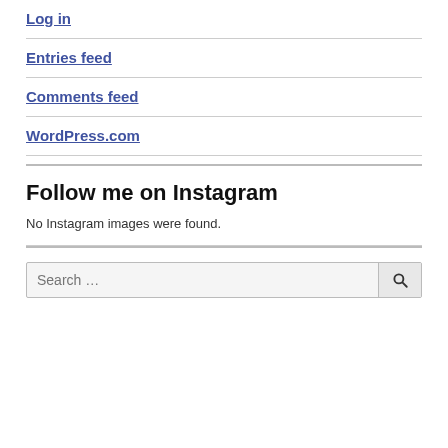Log in
Entries feed
Comments feed
WordPress.com
Follow me on Instagram
No Instagram images were found.
Search …